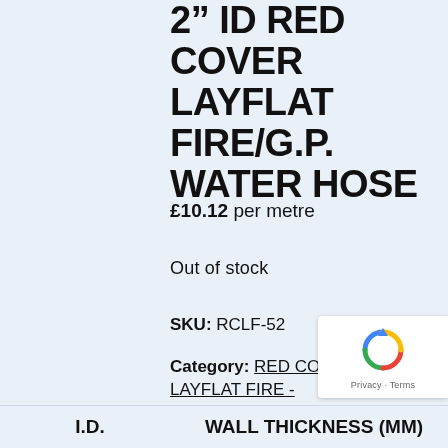RED COVER LAYFLAT FIRE/G.P. WATER HOSE
£10.12 per metre
Out of stock
SKU: RCLF-52
Category: RED COVER LAYFLAT FIRE - G.P. WATER HOSE
| I.D. | WALL THICKNESS (MM) |
| --- | --- |